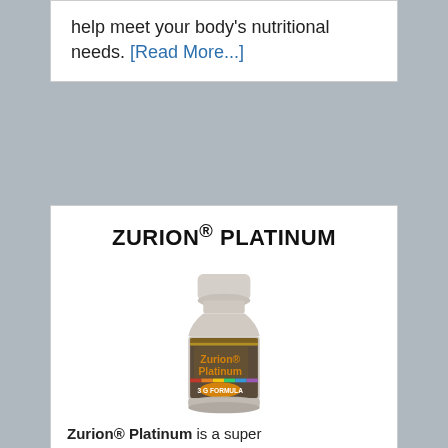help meet your body's nutritional needs. [Read More...]
ZURION® PLATINUM
[Figure (photo): Bottle of Zurion Platinum supplement with orange label reading 'Zurion Platinum 3G Formula' and showing tablets count]
Zurion® Platinum is a super